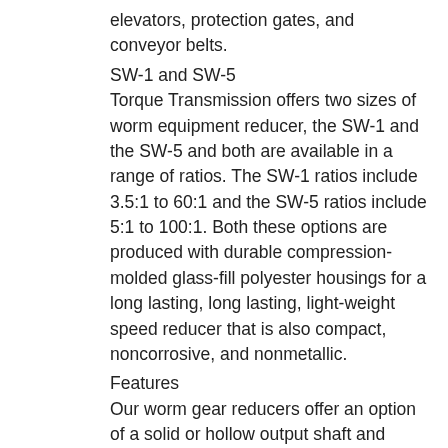elevators, protection gates, and conveyor belts.
SW-1 and SW-5
Torque Transmission offers two sizes of worm equipment reducer, the SW-1 and the SW-5 and both are available in a range of ratios. The SW-1 ratios include 3.5:1 to 60:1 and the SW-5 ratios include 5:1 to 100:1. Both these options are produced with durable compression-molded glass-fill polyester housings for a long lasting, long lasting, light-weight speed reducer that is also compact, noncorrosive, and nonmetallic.
Features
Our worm gear reducers offer an option of a solid or hollow output shaft and feature an adjustable mounting placement. Both the SW-1 and the SW-5, however, can withstand shock loading much better than other reduction gearbox styles, making them ideal for demanding applications.
Rugged compression-molded glass-fill up polyester